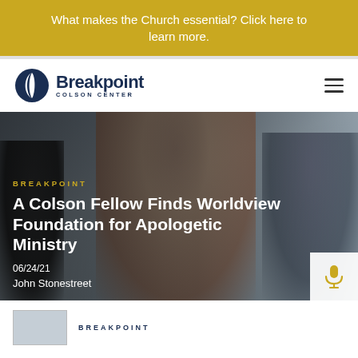What makes the Church essential? Click here to learn more.
[Figure (logo): Breakpoint Colson Center logo with crescent moon icon and bold sans-serif text]
[Figure (photo): Background photo of people at a conference or ministry event, overlaid with article headline and metadata]
A Colson Fellow Finds Worldview Foundation for Apologetic Ministry
06/24/21
John Stonestreet
BREAKPOINT